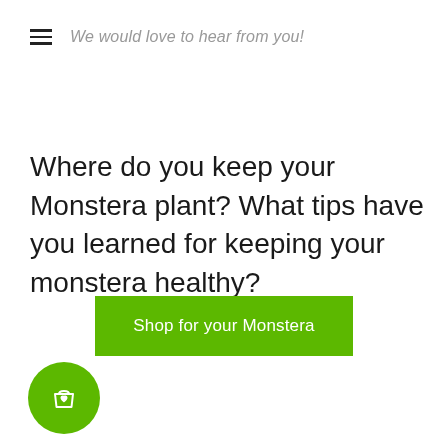We would love to hear from you!
Where do you keep your Monstera plant? What tips have you learned for keeping your monstera healthy?
[Figure (other): Green rectangular button with white text reading 'Shop for your Monstera']
[Figure (other): Green circular shopping bag with heart icon button at bottom left]